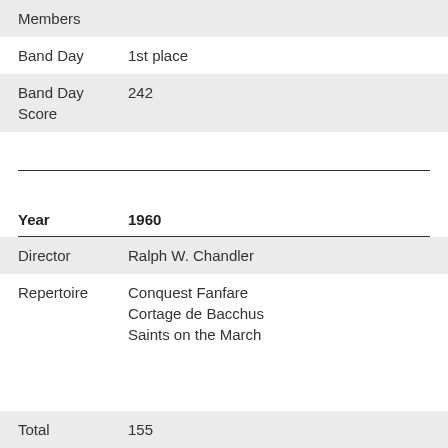| Members |  |
| Band Day | 1st place |
| Band Day Score | 242 |
| Year | 1960 |
| Director | Ralph W. Chandler |
| Repertoire | Conquest Fanfare
Cortage de Bacchus
Saints on the March |
| Total | 155 |